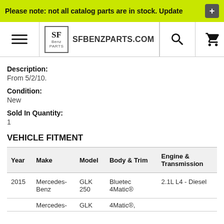Please note: not all catalog parts are in stock. Update
[Figure (screenshot): SF Benz Parts website header with hamburger menu, logo, site name SFBENZPARTS.COM, search icon, and cart icon]
Description:
From 5/2/10.
Condition:
New
Sold In Quantity:
1
VEHICLE FITMENT
| Year | Make | Model | Body & Trim | Engine & Transmission |
| --- | --- | --- | --- | --- |
| 2015 | Mercedes-Benz | GLK 250 | Bluetec 4Matic® | 2.1L L4 - Diesel |
| 201_ | Mercedes- | GLK | 4Matic®, | 2.1L L4 - D... |